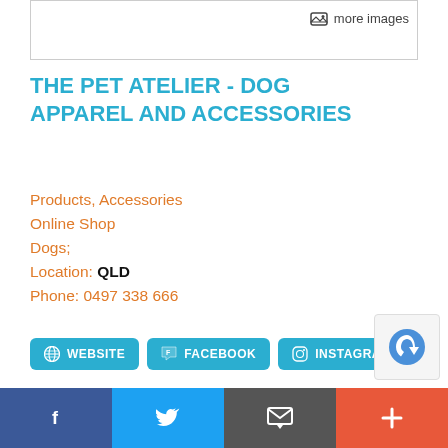[Figure (screenshot): Image box with 'more images' button in top right]
THE PET ATELIER - DOG APPAREL AND ACCESSORIES
Products, Accessories
Online Shop
Dogs;
Location: QLD
Phone: 0497 338 666
[Figure (infographic): Social/contact buttons: WEBSITE, FACEBOOK, INSTAGRAM, EMAIL US]
Designer, handcrafted pet accessories delivered world wide. Also offering A variety of payment options including After Pay:
Facebook | Twitter | Message | Plus